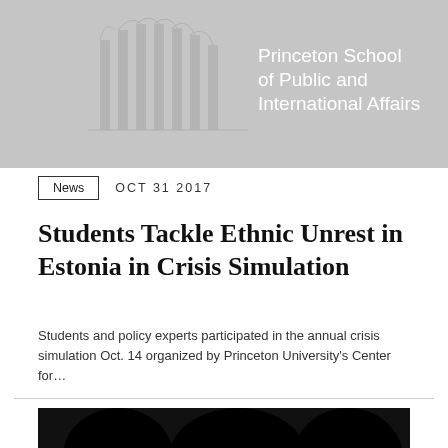[Figure (logo): Princeton School of Public and International Affairs logo banner with architectural column illustration on grey background]
News   OCT 31 2017
Students Tackle Ethnic Unrest in Estonia in Crisis Simulation
Students and policy experts participated in the annual crisis simulation Oct. 14 organized by Princeton University's Center for...
[Figure (photo): Partial black and white photo of people, cropped at bottom of page]